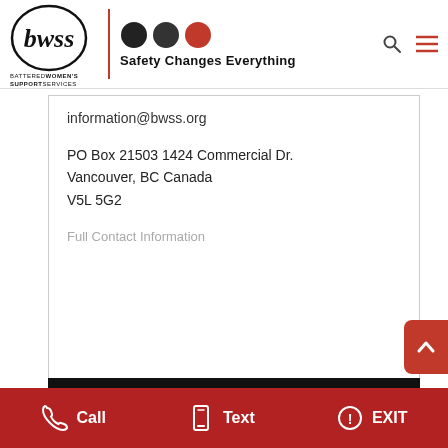[Figure (logo): bwss Battered Women's Support Services logo with three circles (two black, one red) and tagline 'Safety Changes Everything']
information@bwss.org
PO Box 21503 1424 Commercial Dr.
Vancouver, BC Canada
V5L 5G2
Full Contact Information
#ENDINGVIOLENCE
Call   Text   EXIT